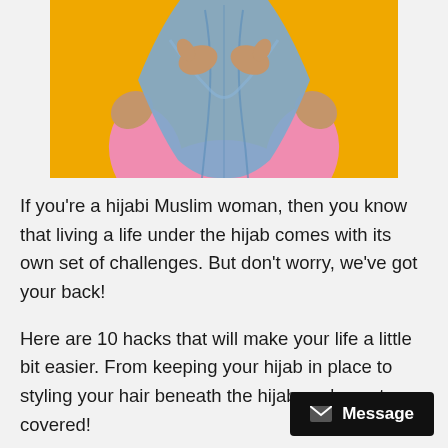[Figure (photo): Partial photo of a hijabi woman in a pink top with a blue hijab, posed against a yellow/golden background. The image is cropped to show from the neck/shoulders down to the waist, with the woman's hands raised near her face.]
If you're a hijabi Muslim woman, then you know that living a life under the hijab comes with its own set of challenges. But don't worry, we've got your back!
Here are 10 hacks that will make your life a little bit easier. From keeping your hijab in place to styling your hair beneath the hijab, we've got you covered!
So read on and see how you can